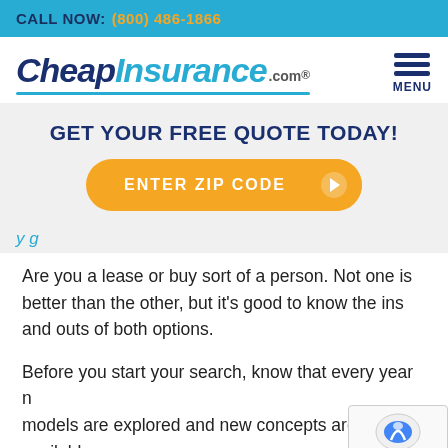CALL NOW: (800) 486-1866
[Figure (logo): CheapInsurance.com logo with italic bold text and menu icon]
GET YOUR FREE QUOTE TODAY!
[Figure (infographic): Orange pill-shaped button with text ENTER ZIP CODE and arrow icon]
Are you a lease or buy sort of a person. Not one is better than the other, but it's good to know the ins and outs of both options.
Before you start your search, know that every year new models are explored and new concepts are available.
Don't pin yourself down with one car just because it's who